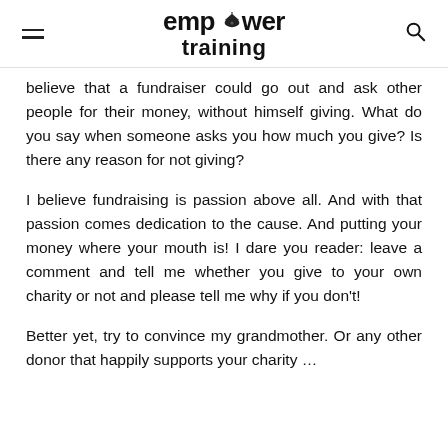empower training
believe that a fundraiser could go out and ask other people for their money, without himself giving. What do you say when someone asks you how much you give? Is there any reason for not giving?
I believe fundraising is passion above all. And with that passion comes dedication to the cause. And putting your money where your mouth is! I dare you reader: leave a comment and tell me whether you give to your own charity or not and please tell me why if you don't!
Better yet, try to convince my grandmother. Or any other donor that happily supports your charity …